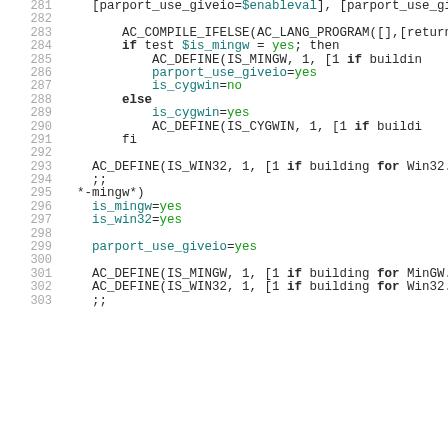[Figure (screenshot): Source code listing lines 281-303 of a shell/autoconf configure script with syntax highlighting. Line numbers in gray on left, keywords in bold dark, variable assignments in teal/green.]